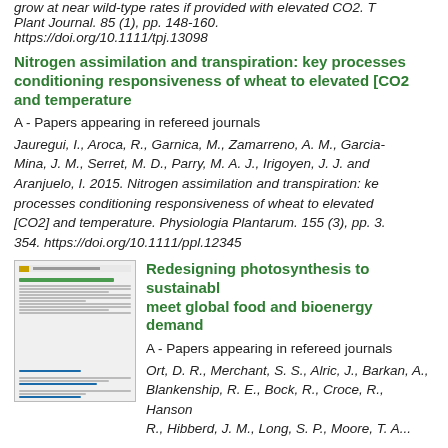grow at near wild-type rates if provided with elevated CO2. The Plant Journal. 85 (1), pp. 148-160. https://doi.org/10.1111/tpj.13098
Nitrogen assimilation and transpiration: key processes conditioning responsiveness of wheat to elevated [CO2] and temperature
A - Papers appearing in refereed journals
Jauregui, I., Aroca, R., Garnica, M., Zamarreno, A. M., Garcia-Mina, J. M., Serret, M. D., Parry, M. A. J., Irigoyen, J. J. and Aranjuelo, I. 2015. Nitrogen assimilation and transpiration: key processes conditioning responsiveness of wheat to elevated [CO2] and temperature. Physiologia Plantarum. 155 (3), pp. 3. 354. https://doi.org/10.1111/ppl.12345
[Figure (screenshot): Thumbnail preview of a document page]
Redesigning photosynthesis to sustainably meet global food and bioenergy demand
A - Papers appearing in refereed journals
Ort, D. R., Merchant, S. S., Alric, J., Barkan, A., Blankenship, R. E., Bock, R., Croce, R., Hanson, R., Hibberd, J. M., Long, S. P., Moore, T. A...